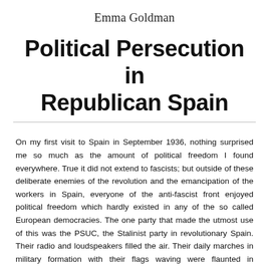Emma Goldman
Political Persecution in Republican Spain
On my first visit to Spain in September 1936, nothing surprised me so much as the amount of political freedom I found everywhere. True it did not extend to fascists; but outside of these deliberate enemies of the revolution and the emancipation of the workers in Spain, everyone of the anti-fascist front enjoyed political freedom which hardly existed in any of the so called European democracies. The one party that made the utmost use of this was the PSUC, the Stalinist party in revolutionary Spain. Their radio and loudspeakers filled the air. Their daily marches in military formation with their flags waving were flaunted in everybody's face. They seemed to take a special pleasure in marching past the house of the Regional Committee as if they wanted to make the CNT-FAI aware of their